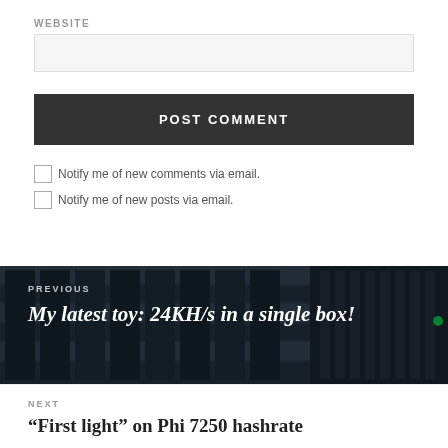WEBSITE
POST COMMENT
Notify me of new comments via email.
Notify me of new posts via email.
[Figure (photo): Server hardware with multiple cards/boards visible in a rack-mount chassis]
PREVIOUS
My latest toy: 24KH/s in a single box!
NEXT
“First light” on Phi 7250 hashrate